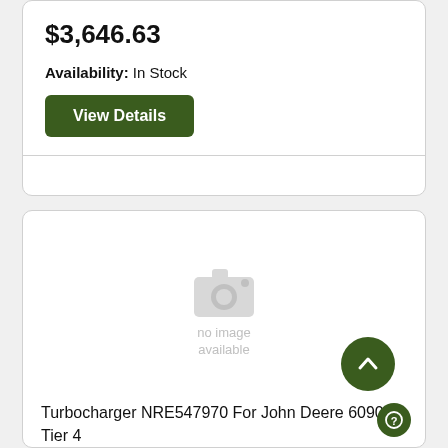$3,646.63
Availability: In Stock
View Details
[Figure (illustration): No image available placeholder with camera icon and 'no image available' text]
Turbocharger NRE547970 For John Deere 6090 Tier 4